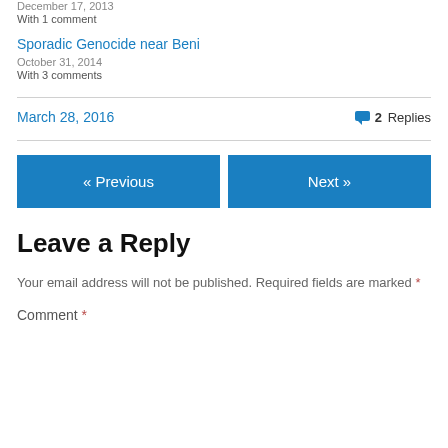December 17, 2013
With 1 comment
Sporadic Genocide near Beni
October 31, 2014
With 3 comments
March 28, 2016
2 Replies
« Previous
Next »
Leave a Reply
Your email address will not be published. Required fields are marked *
Comment *